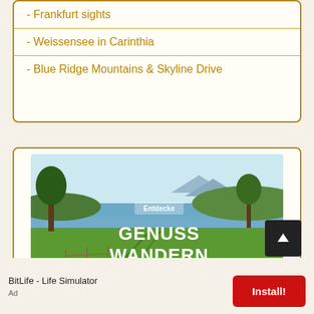- Frankfurt sights
- Weissensee in Carinthia
- Blue Ridge Mountains & Skyline Drive
[Figure (photo): Landscape photo showing green meadows, a lake, and trees with text overlay 'Entdecke GENUSS WANDERN']
BitLife - Life Simulator
Ad
Install!